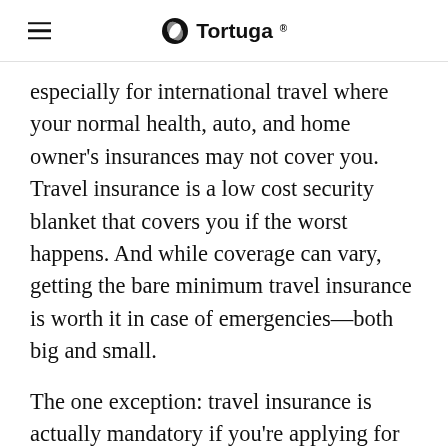Tortuga
especially for international travel where your normal health, auto, and home owner's insurances may not cover you. Travel insurance is a low cost security blanket that covers you if the worst happens. And while coverage can vary, getting the bare minimum travel insurance is worth it in case of emergencies—both big and small.
The one exception: travel insurance is actually mandatory if you're applying for